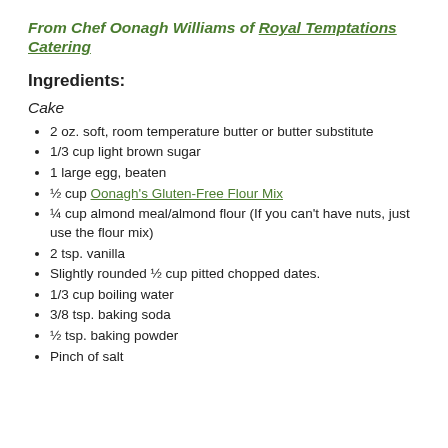From Chef Oonagh Williams of Royal Temptations Catering
Ingredients:
Cake
2 oz. soft, room temperature butter or butter substitute
1/3 cup light brown sugar
1 large egg, beaten
½ cup Oonagh's Gluten-Free Flour Mix
¼ cup almond meal/almond flour (If you can't have nuts, just use the flour mix)
2 tsp. vanilla
Slightly rounded ½ cup pitted chopped dates.
1/3 cup boiling water
3/8 tsp. baking soda
½ tsp. baking powder
Pinch of salt